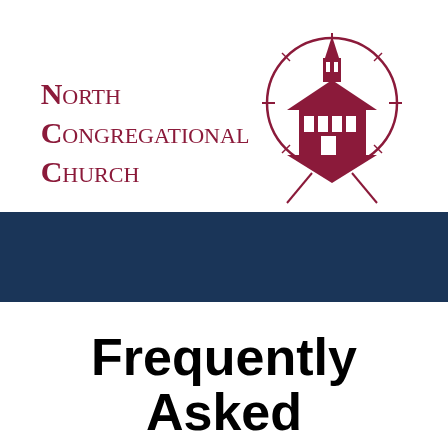[Figure (logo): North Congregational Church logo with church building illustration inside a compass/circle design, in dark red/maroon color]
Frequently Asked